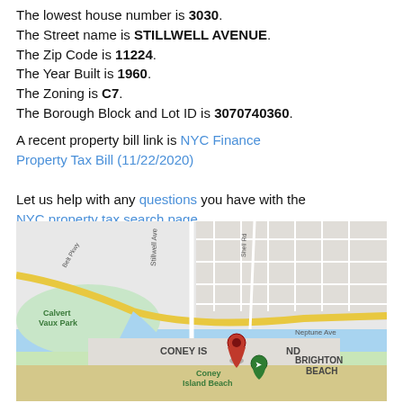The lowest house number is 3030. The Street name is STILLWELL AVENUE. The Zip Code is 11224. The Year Built is 1960. The Zoning is C7. The Borough Block and Lot ID is 3070740360.
A recent property bill link is NYC Finance Property Tax Bill (11/22/2020)
Let us help with any questions you have with the NYC property tax search page
[Figure (map): Google Maps view of Coney Island area showing Stillwell Avenue, Shell Rd, Belt Pkwy, Calvert Vaux Park, Neptune Ave, Coney Island, Brighton Beach, Coney Island Beach, with a red location pin marker.]